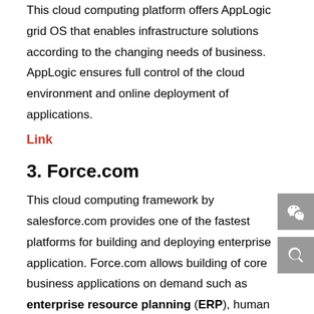This cloud computing platform offers AppLogic grid OS that enables infrastructure solutions according to the changing needs of business. AppLogic ensures full control of the cloud environment and online deployment of applications.
Link
3. Force.com
This cloud computing framework by salesforce.com provides one of the fastest platforms for building and deploying enterprise application. Force.com allows building of core business applications on demand such as enterprise resource planning (ERP), human resource management (HRM) and supply chain management (SCM).